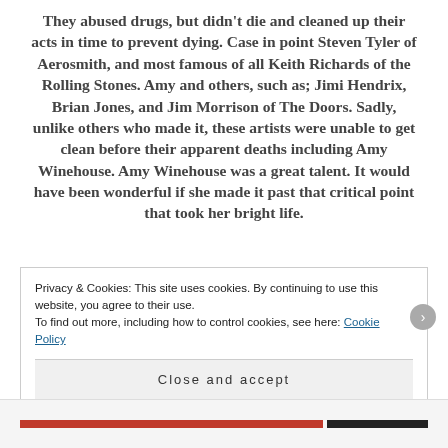They abused drugs, but didn't die and cleaned up their acts in time to prevent dying. Case in point Steven Tyler of Aerosmith, and most famous of all Keith Richards of the Rolling Stones. Amy and others, such as; Jimi Hendrix, Brian Jones, and Jim Morrison of The Doors. Sadly, unlike others who made it, these artists were unable to get clean before their apparent deaths including Amy Winehouse. Amy Winehouse was a great talent. It would have been wonderful if she made it past that critical point that took her bright life.
Privacy & Cookies: This site uses cookies. By continuing to use this website, you agree to their use. To find out more, including how to control cookies, see here: Cookie Policy
Close and accept